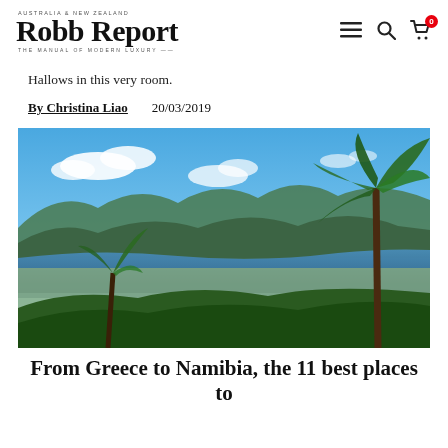Robb Report | AUSTRALIA & NEW ZEALAND | THE MANUAL OF MODERN LUXURY
Hallows in this very room.
By Christina Liao    20/03/2019
[Figure (photo): Aerial view of a coastal city with palm trees in the foreground, ocean bay, mountains in the background, and blue sky with clouds — likely Santa Barbara, California.]
From Greece to Namibia, the 11 best places to